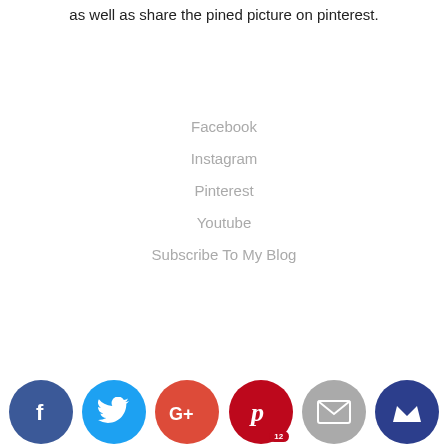as well as share the pined picture on pinterest.
Facebook
Instagram
Pinterest
Youtube
Subscribe To My Blog
[Figure (infographic): Social media share buttons row: Facebook (blue), Twitter (light blue), Google+ (red-orange), Pinterest (dark red, badge 12), Email (gray), Crown/Bloglovin (dark blue)]